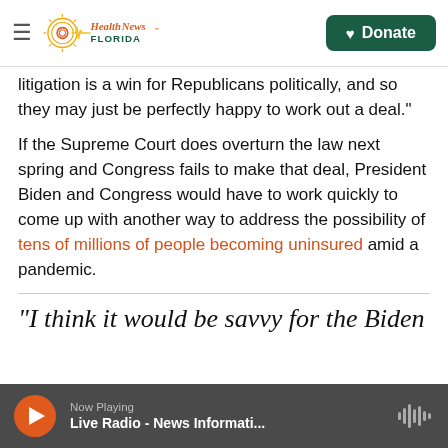Health News Florida — Donate
litigation is a win for Republicans politically, and so they may just be perfectly happy to work out a deal."
If the Supreme Court does overturn the law next spring and Congress fails to make that deal, President Biden and Congress would have to work quickly to come up with another way to address the possibility of tens of millions of people becoming uninsured amid a pandemic.
"I think it would be savvy for the Biden
Now Playing — Live Radio - News Informati...